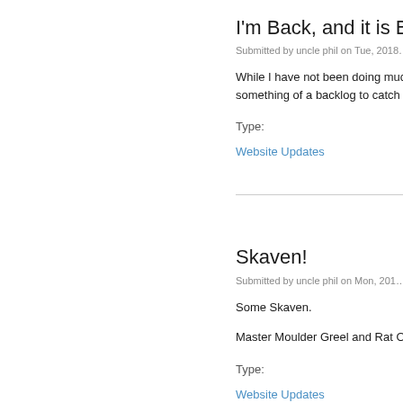I'm Back, and it is Bloo…
Submitted by uncle phil on Tue, 2018…
While I have not been doing much… something of a backlog to catch up…
Type:
Website Updates
Skaven!
Submitted by uncle phil on Mon, 201…
Some Skaven.
Master Moulder Greel and Rat Og…
Type:
Website Updates